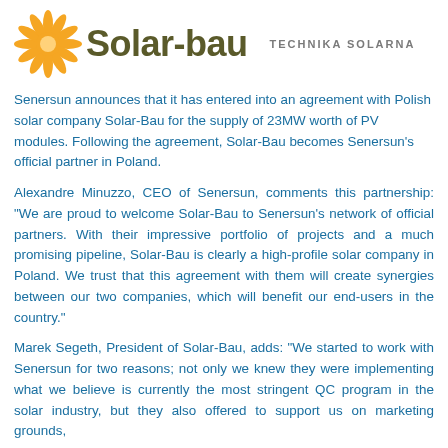[Figure (logo): Solar-bau logo with sun graphic and 'TECHNIKA SOLARNA' tagline]
Senersun announces that it has entered into an agreement with Polish solar company Solar-Bau for the supply of 23MW worth of PV modules. Following the agreement, Solar-Bau becomes Senersun's official partner in Poland.
Alexandre Minuzzo, CEO of Senersun, comments this partnership: "We are proud to welcome Solar-Bau to Senersun's network of official partners. With their impressive portfolio of projects and a much promising pipeline, Solar-Bau is clearly a high-profile solar company in Poland. We trust that this agreement with them will create synergies between our two companies, which will benefit our end-users in the country."
Marek Segeth, President of Solar-Bau, adds: "We started to work with Senersun for two reasons; not only we knew they were implementing what we believe is currently the most stringent QC program in the solar industry, but they also offered to support us on marketing grounds, which we were less of that to meet it contact and below t